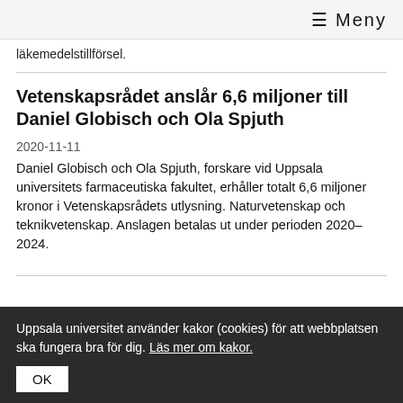≡ Meny
läkemedelstillförsel.
Vetenskapsrådet anslår 6,6 miljoner till Daniel Globisch och Ola Spjuth
2020-11-11
Daniel Globisch och Ola Spjuth, forskare vid Uppsala universitets farmaceutiska fakultet, erhåller totalt 6,6 miljoner kronor i Vetenskapsrådets utlysning. Naturvetenskap och teknikvetenskap. Anslagen betalas ut under perioden 2020–2024.
Elin Svedin ny ordförande i Alumniföreningen
Uppsala universitet använder kakor (cookies) för att webbplatsen ska fungera bra för dig. Läs mer om kakor. OK